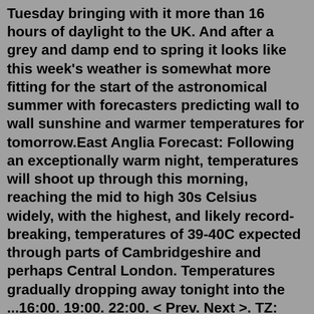Tuesday bringing with it more than 16 hours of daylight to the UK. And after a grey and damp end to spring it looks like this week's weather is somewhat more fitting for the start of the astronomical summer with forecasters predicting wall to wall sunshine and warmer temperatures for tomorrow.East Anglia Forecast: Following an exceptionally warm night, temperatures will shoot up through this morning, reaching the mid to high 30s Celsius widely, with the highest, and likely record-breaking, temperatures of 39-40C expected through parts of Cambridgeshire and perhaps Central London. Temperatures gradually dropping away tonight into the ...16:00. 19:00. 22:00. < Prev. Next >. TZ: BST (UTC+1) GFS Run: Mon 06Z. Use the calendar above to select a forecast time or date. Move your mouse over the map to display the forecast at each location.The Met Office has issued an amber heat warning across parts of England and Wales, as regions are braced for temperatures as high as 35C. The alert comes as a